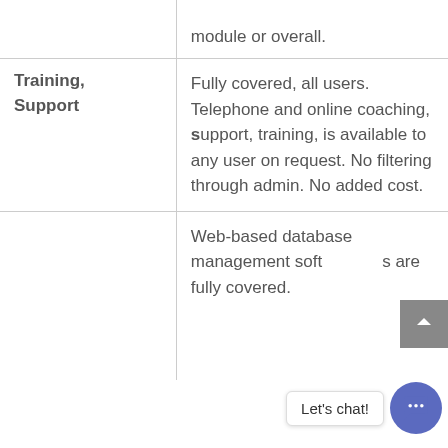|  |  |
| --- | --- |
|  | module or overall. |
| Training, Support | Fully covered, all users. Telephone and online coaching, support, training, is available to any user on request. No filtering through admin. No added cost. |
|  | Web-based database management software backups are fully covered. |